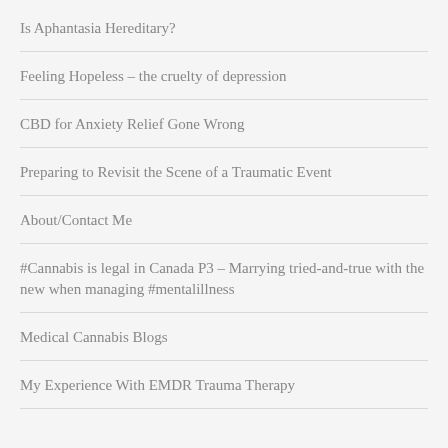Is Aphantasia Hereditary?
Feeling Hopeless – the cruelty of depression
CBD for Anxiety Relief Gone Wrong
Preparing to Revisit the Scene of a Traumatic Event
About/Contact Me
#Cannabis is legal in Canada P3 – Marrying tried-and-true with the new when managing #mentalillness
Medical Cannabis Blogs
My Experience With EMDR Trauma Therapy